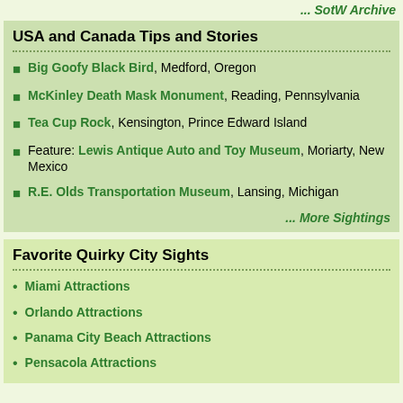... SotW Archive
USA and Canada Tips and Stories
Big Goofy Black Bird, Medford, Oregon
McKinley Death Mask Monument, Reading, Pennsylvania
Tea Cup Rock, Kensington, Prince Edward Island
Feature: Lewis Antique Auto and Toy Museum, Moriarty, New Mexico
R.E. Olds Transportation Museum, Lansing, Michigan
... More Sightings
Favorite Quirky City Sights
Miami Attractions
Orlando Attractions
Panama City Beach Attractions
Pensacola Attractions